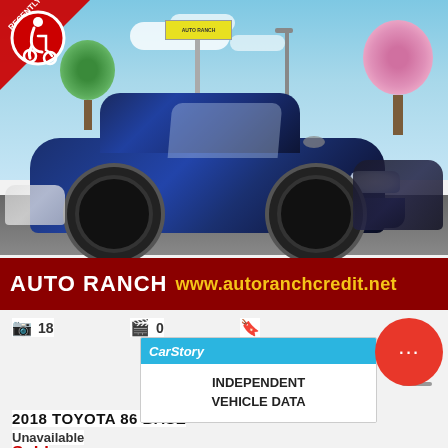[Figure (photo): Blue 2018 Toyota 86 Base sports car in dealership lot. Sky background with clouds and trees. Red banner at bottom reads AUTO RANCH www.autoranchcredit.net. Handicap accessibility badge in top-left corner.]
18
0
[Figure (infographic): CarStory badge showing INDEPENDENT VEHICLE DATA]
2018 TOYOTA 86 BASE
Unavailable
Sold